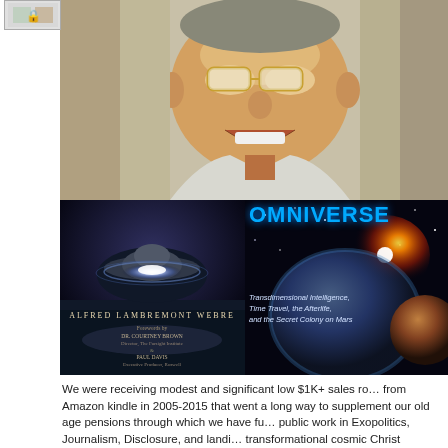[Figure (photo): Small thumbnail image in top-left with lock icon]
[Figure (photo): Portrait painting of an older man with glasses, smiling, painterly style]
[Figure (photo): Book cover: UFO/flying saucer over water with glow, 'Alfred Lambremont Webre', forewords by Dr. Courtney Brown and Paul Davis]
[Figure (photo): Book cover: OMNIVERSE - Transdimensional Intelligence, Time Travel, the Afterlife, and the Secret Colony on Mars, space imagery with planets]
We were receiving modest and significant low $1K+ sales royalties from Amazon kindle in 2005-2015 that went a long way to supplement our old age pensions through which we have funded public work in Exopolitics, Journalism, Disclosure, and landing transformational cosmic Christ consciousness on Earth through outreach including Exopolitics.com, NewsInsideOut.com and UniverseBooks.com
Escaping Amazon and launching at UniverseBooks.com
We have now escaped & exited the Reptilian-CIA author-publishing intellectual property killing and censorship machine at Amazon & have published these wonder-full three iconic books. The